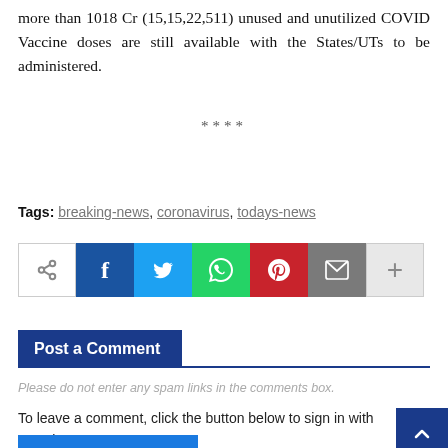more than 1018 Cr (15,15,22,511) unused and unutilized COVID Vaccine doses are still available with the States/UTs to be administered.
****
Tags: breaking-news, coronavirus, todays-news
[Figure (other): Social share buttons row: share icon, Facebook, Twitter, WhatsApp, Pinterest, Email, More (+)]
Post a Comment
Please do not enter any spam links in the comments box.
To leave a comment, click the button below to sign in with Google.